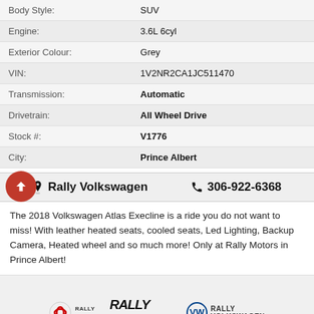| Attribute | Value |
| --- | --- |
| Body Style: | SUV |
| Engine: | 3.6L 6cyl |
| Exterior Colour: | Grey |
| VIN: | 1V2NR2CA1JC511470 |
| Transmission: | Automatic |
| Drivetrain: | All Wheel Drive |
| Stock #: | V1776 |
| City: | Prince Albert |
Rally Volkswagen   306-922-6368
The 2018 Volkswagen Atlas Execline is a ride you do not want to miss! With leather heated seats, cooled seats, Led Lighting, Backup Camera, Heated wheel and so much more! Only at Rally Motors in Prince Albert!
[Figure (logo): Rally Mazda, Rally Motorgroup, and Rally Volkswagen logos in a row]